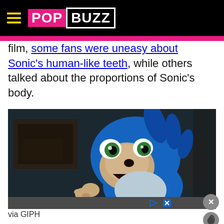PopBuzz
film, some fans were uneasy about Sonic's human-like teeth, while others talked about the proportions of Sonic's body.
[Figure (photo): Movie still of Sonic the Hedgehog character from the 2019 film, showing the blue CGI character with wide green eyes and open mouth in a surprised expression, holding up one hand, with a dark blurred background.]
via GIPH